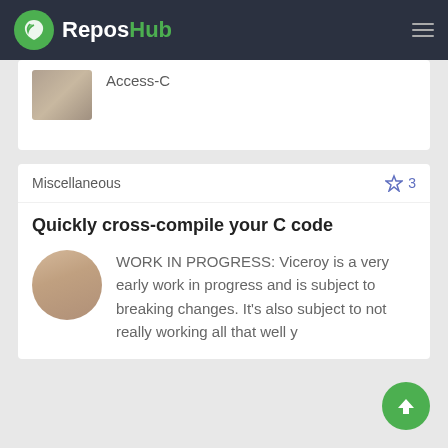ReposHub
Access-C
Miscellaneous  ☆ 3
Quickly cross-compile your C code
WORK IN PROGRESS: Viceroy is a very early work in progress and is subject to breaking changes. It's also subject to not really working all that well y